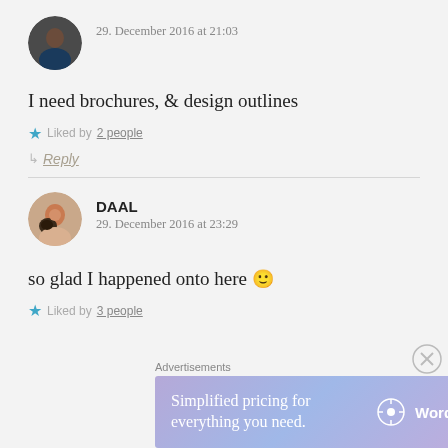29. December 2016 at 21:03
I need brochures, & design outlines
★ Liked by 2 people
↳ Reply
DAAL
29. December 2016 at 23:29
so glad I happened onto here 🙂
★ Liked by 3 people
Advertisements
[Figure (screenshot): WordPress.com advertisement banner: 'Simplified pricing for everything you need.' with WordPress.com logo]